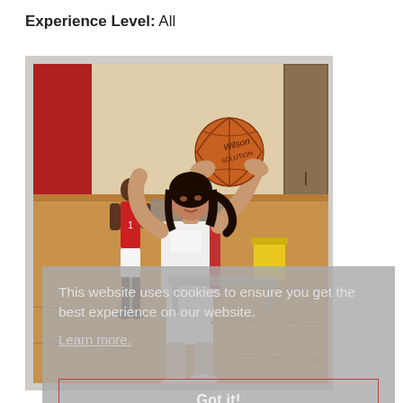Experience Level: All
[Figure (photo): A young female basketball player in a white Nike jersey shooting a Wilson basketball in a gym. Another player in a red jersey is visible in the background. A cookie consent overlay covers the lower portion of the image with text 'This website uses cookies to ensure you get the best experience on our website. Learn more.' and a 'Got it!' button.]